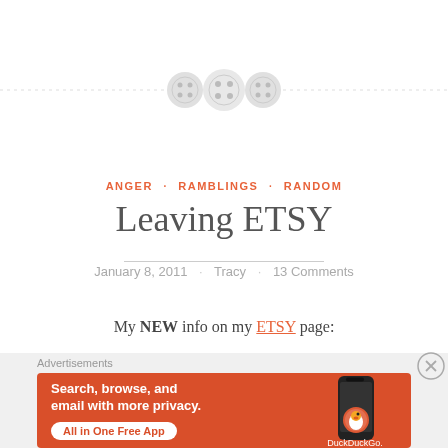[Figure (illustration): Decorative blog divider with three sewing buttons on a dashed horizontal line]
ANGER · RAMBLINGS · RANDOM
Leaving ETSY
January 8, 2011 · Tracy · 13 Comments
My NEW info on my ETSY page:
[Figure (screenshot): DuckDuckGo advertisement banner: Search, browse, and email with more privacy. All in One Free App. Shows phone with DuckDuckGo logo.]